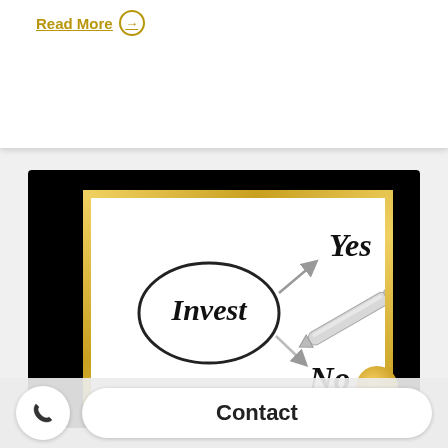Read More →
[Figure (illustration): An investment decision diagram on white paper inside a gold frame on black background. Shows 'Invest' circled with arrows pointing to 'Yes' and 'No', with a silver pen resting on the paper.]
Contact